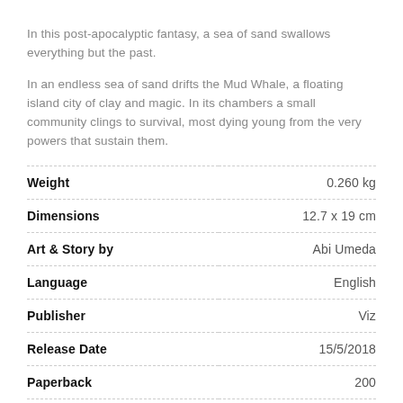In this post-apocalyptic fantasy, a sea of sand swallows everything but the past.
In an endless sea of sand drifts the Mud Whale, a floating island city of clay and magic. In its chambers a small community clings to survival, most dying young from the very powers that sustain them.
|  |  |
| --- | --- |
| Weight | 0.260 kg |
| Dimensions | 12.7 x 19 cm |
| Art & Story by | Abi Umeda |
| Language | English |
| Publisher | Viz |
| Release Date | 15/5/2018 |
| Paperback | 200 |
Out of stock